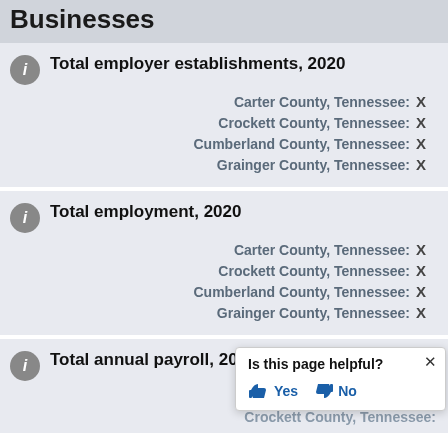Businesses
Total employer establishments, 2020
Carter County, Tennessee: X
Crockett County, Tennessee: X
Cumberland County, Tennessee: X
Grainger County, Tennessee: X
Total employment, 2020
Carter County, Tennessee: X
Crockett County, Tennessee: X
Cumberland County, Tennessee: X
Grainger County, Tennessee: X
Total annual payroll, 2020 ($1,000)
Carter County, Tennessee:
Crockett County, Tennessee: